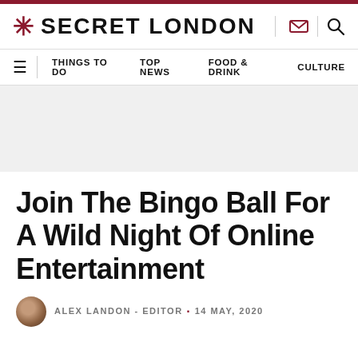SECRET LONDON
THINGS TO DO · TOP NEWS · FOOD & DRINK · CULTURE
Join The Bingo Ball For A Wild Night Of Online Entertainment
ALEX LANDON - EDITOR · 14 MAY, 2020